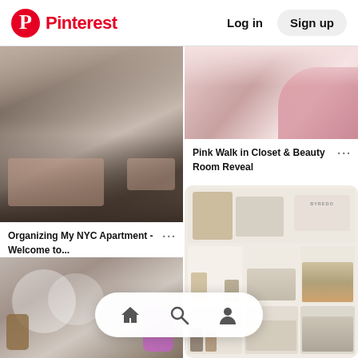Pinterest  Log in  Sign up
[Figure (photo): Person organizing clothes in a drawer under a bed]
Organizing My NYC Apartment - Welcome to...
[Figure (photo): Pink walk-in closet corner with pink bag]
Pink Walk in Closet & Beauty Room Reveal
[Figure (photo): White shelf unit filled with perfumes, cosmetics, frames, and decorative items with BYREDO box]
[Figure (photo): Vanity table with glass jar, purple item and cosmetics]
[Figure (screenshot): Bottom navigation bar with home, search, and profile icons]